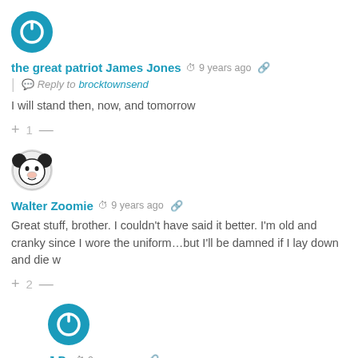[Figure (illustration): Circular blue avatar with white power button icon]
the great patriot James Jones  9 years ago
Reply to  brocktownsend
I will stand then, now, and tomorrow
+ 1 —
[Figure (illustration): Circular avatar with cartoon character (Mickey Mouse-style)]
Walter Zoomie  9 years ago
Great stuff, brother. I couldn't have said it better. I'm old and cranky since I wore the uniform…but I'll be damned if I lay down and die w
+ 2 —
[Figure (illustration): Circular blue avatar with white power button icon]
J.D.  9 years ago
Reply to  Walter Zoomie
I'll second that, Walter. I never expected to live this long, but since I